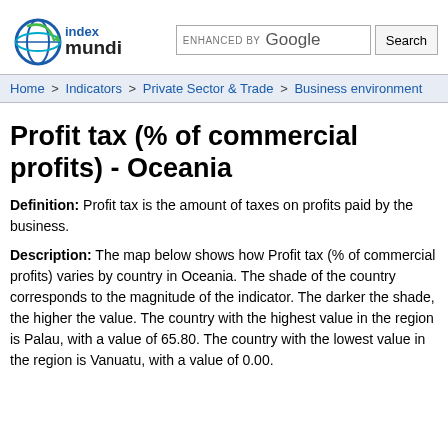index mundi
Home > Indicators > Private Sector & Trade > Business environment
Profit tax (% of commercial profits) - Oceania
Definition: Profit tax is the amount of taxes on profits paid by the business.
Description: The map below shows how Profit tax (% of commercial profits) varies by country in Oceania. The shade of the country corresponds to the magnitude of the indicator. The darker the shade, the higher the value. The country with the highest value in the region is Palau, with a value of 65.80. The country with the lowest value in the region is Vanuatu, with a value of 0.00.